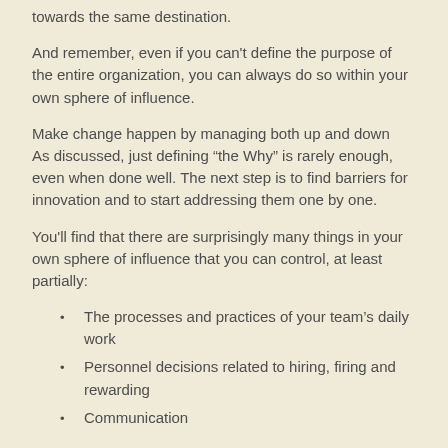towards the same destination.
And remember, even if you can't define the purpose of the entire organization, you can always do so within your own sphere of influence.
Make change happen by managing both up and down
As discussed, just defining “the Why” is rarely enough, even when done well. The next step is to find barriers for innovation and to start addressing them one by one.
You'll find that there are surprisingly many things in your own sphere of influence that you can control, at least partially:
The processes and practices of your team’s daily work
Personnel decisions related to hiring, firing and rewarding
Communication